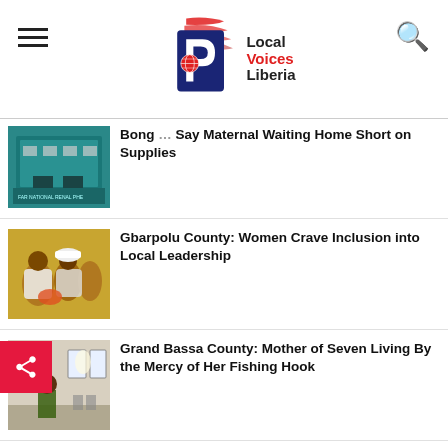Local Voices Liberia
Bong ... Say Maternal Waiting Home Short on Supplies
Gbarpolu County: Women Crave Inclusion into Local Leadership
Grand Bassa County: Mother of Seven Living By the Mercy of Her Fishing Hook
14 Journalists Complete Humanitarian Report Training
Grand Bassa County: Damaged Bridges